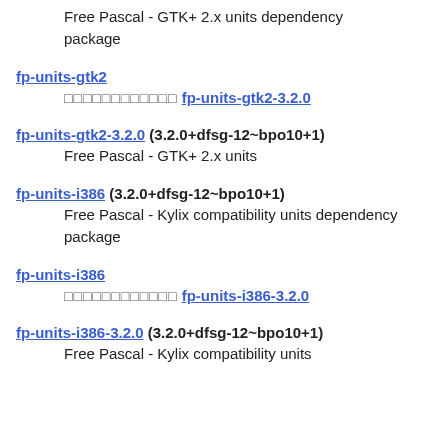Free Pascal - GTK+ 2.x units dependency package
fp-units-gtk2
□□□□□□□□□□□□ fp-units-gtk2-3.2.0
fp-units-gtk2-3.2.0 (3.2.0+dfsg-12~bpo10+1)
Free Pascal - GTK+ 2.x units
fp-units-i386 (3.2.0+dfsg-12~bpo10+1)
Free Pascal - Kylix compatibility units dependency package
fp-units-i386
□□□□□□□□□□□□ fp-units-i386-3.2.0
fp-units-i386-3.2.0 (3.2.0+dfsg-12~bpo10+1)
Free Pascal - Kylix compatibility units